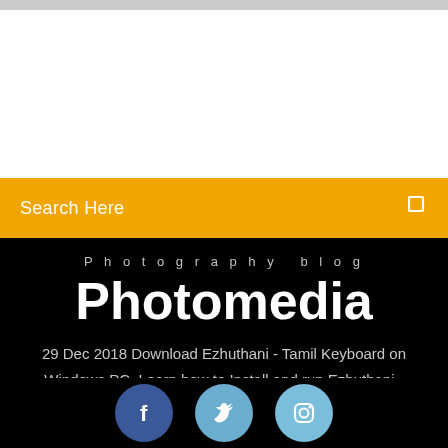[Figure (screenshot): White background area at top of page, partial screenshot of a website]
Search Here
Photography blog
Photomedia
29 Dec 2018 Download Ezhuthani - Tamil Keyboard on Windows PC. Learn how to Install and run Ezhuthani - Tamil Keyboard on PC (Windows 7/8/10).
[Figure (infographic): Three social media icon buttons: Facebook (dark blue circle with f), Twitter (light blue circle with bird icon), Instagram (light blue circle with camera icon)]